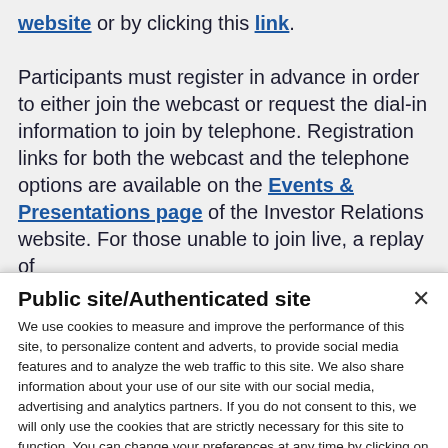website or by clicking this link. Participants must register in advance in order to either join the webcast or request the dial-in information to join by telephone. Registration links for both the webcast and the telephone options are available on the Events & Presentations page of the Investor Relations website. For those unable to join live, a replay of
Public site/Authenticated site
We use cookies to measure and improve the performance of this site, to personalize content and adverts, to provide social media features and to analyze the web traffic to this site. We also share information about your use of our site with our social media, advertising and analytics partners. If you do not consent to this, we will only use the cookies that are strictly necessary for this site to function. You can change your preferences at any time by clicking on the cookie pop-up in